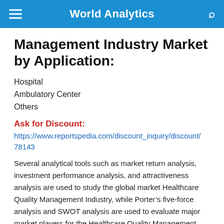World Analytics
Management Industry Market by Application:
Hospital
Ambulatory Center
Others
Ask for Discount:
https://www.reportspedia.com/discount_inquiry/discount/78143
Several analytical tools such as market return analysis, investment performance analysis, and attractiveness analysis are used to study the global market Healthcare Quality Management Industry, while Porter’s five-force analysis and SWOT analysis are used to evaluate major market players for the Healthcare Quality Management